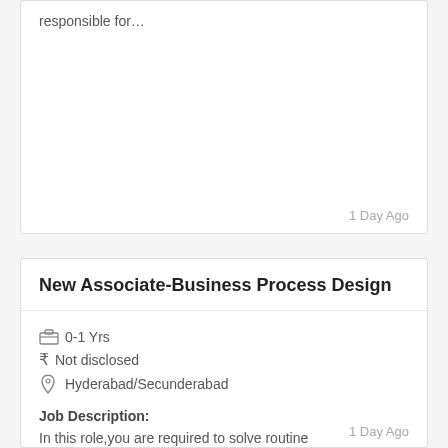responsible for…
1 Day Ago
New Associate-Business Process Design
0-1 Yrs
₹ Not disclosed
Hyderabad/Secunderabad
Job Description:
In this role,you are required to solve routine problems,largely…
1 Day Ago